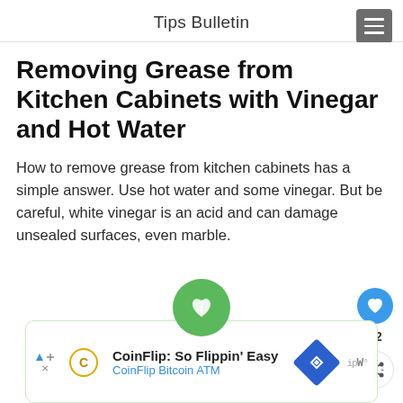Tips Bulletin
Removing Grease from Kitchen Cabinets with Vinegar and Hot Water
How to remove grease from kitchen cabinets has a simple answer. Use hot water and some vinegar. But be careful, white vinegar is an acid and can damage unsealed surfaces, even marble.
[Figure (other): Green circular icon with leaf/plant symbol at bottom of page]
[Figure (other): CoinFlip Bitcoin ATM advertisement banner with logo and diamond-shaped icon]